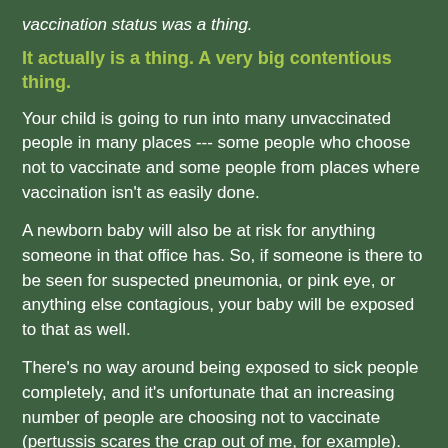vaccination status was a thing.
It actually is a thing. A very big contentious thing.
Your child is going to run into many unvaccinated people in many places --- some people who choose not to vaccinate and some people from places where vaccination isn't as easily done.
A newborn baby will also be at risk for anything someone in that office has. So, if someone is there to be seen for suspected pneumonia, or pink eye, or anything else contagious, your baby will be exposed to that as well.
There's no way around being exposed to sick people completely, and it's unfortunate that an increasing number of people are choosing not to vaccinate (pertussis scares the crap out of me, for example). But you'll find with babies